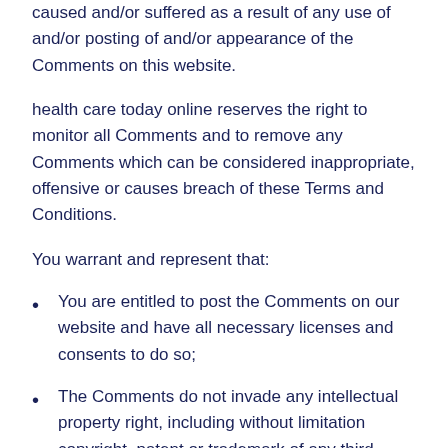caused and/or suffered as a result of any use of and/or posting of and/or appearance of the Comments on this website.
health care today online reserves the right to monitor all Comments and to remove any Comments which can be considered inappropriate, offensive or causes breach of these Terms and Conditions.
You warrant and represent that:
You are entitled to post the Comments on our website and have all necessary licenses and consents to do so;
The Comments do not invade any intellectual property right, including without limitation copyright, patent or trademark of any third party;